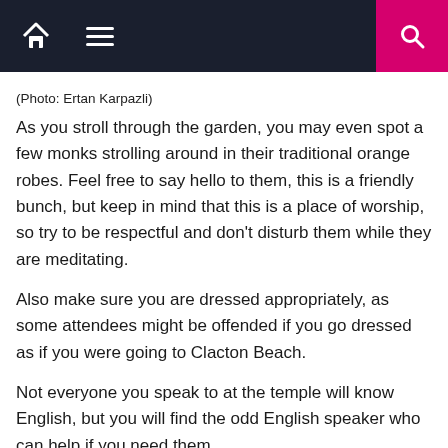Navigation bar with home, menu, and search icons
(Photo: Ertan Karpazli)
As you stroll through the garden, you may even spot a few monks strolling around in their traditional orange robes. Feel free to say hello to them, this is a friendly bunch, but keep in mind that this is a place of worship, so try to be respectful and don't disturb them while they are meditating.
Also make sure you are dressed appropriately, as some attendees might be offended if you go dressed as if you were going to Clacton Beach.
Not everyone you speak to at the temple will know English, but you will find the odd English speaker who can help if you need them.
The temple itself stands out in the middle of the site almost like a white pearl that sparkles on a sunny day. It is designed